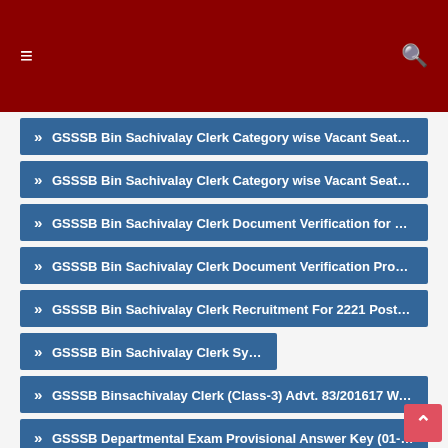≡  🔍
» GSSSB Bin Sachivalay Clerk Category wise Vacant Seats as on 14-
» GSSSB Bin Sachivalay Clerk Category wise Vacant Seats as on 23-
» GSSSB Bin Sachivalay Clerk Document Verification for Waiting List
» GSSSB Bin Sachivalay Clerk Document Verification Programme for
» GSSSB Bin Sachivalay Clerk Recruitment For 2221 Posts 2018 (Last
» GSSSB Bin Sachivalay Clerk Syllabus 2018
» GSSSB Binsachivalay Clerk (Class-3) Advt. 83/201617 Waiting List
» GSSSB Departmental Exam Provisional Answer Key (01-05-2018 to
» GSSSB Departmental Exam Provisional Answer Key (22-10-2018 to
» GSSSB Departmental Exam Provisional Answer Key (25-06-2018 to
» GSSSB Document Verification Programme for Various Posts 2018
» GSSSB Electrical Sub Inspector Final Answer Key 2018